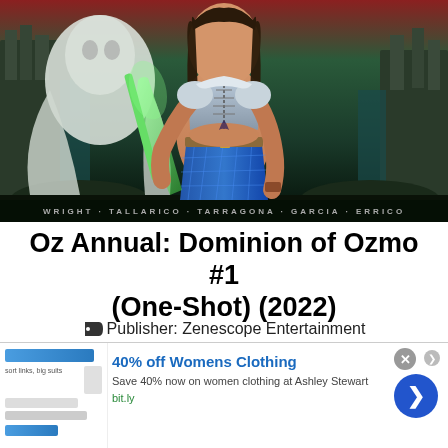[Figure (illustration): Comic book cover art for Oz Annual: Dominion of Ozmo #1. Shows a female character in blue corset and skirt holding a glowing green sword, with a creature on the left and stone ruins in the background. Dark teal/green color palette. Bottom credits bar reads: WRIGHT · TALLARICO · TARRAGONA · GARCIA · ERRICO]
Oz Annual: Dominion of Ozmo #1 (One-Shot) (2022)
Publisher: Zenescope Entertainment
[Figure (screenshot): Advertisement banner: '40% off Womens Clothing - Save 40% now on women clothing at Ashley Stewart - bit.ly' with blue button arrow on right and close button. Left side shows small product image mock-up.]